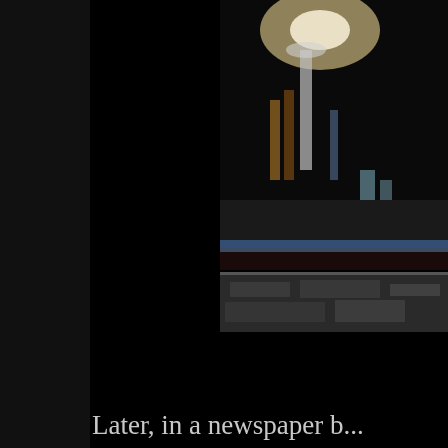[Figure (photo): Partial view of a bar or restaurant interior with bottles and glasses on a dark counter, warm lighting, partially cropped at page edge]
[Figure (photo): Lower portion of bar scene, darker stone or marble surface]
Later, in a newspaper b... school. This was defin... for an art course and fi... outstanding art teacher... second one was Chuam... problems and had to be... Fortunately, Prayuth F... was the perfect time fo... exciting for me who kn...